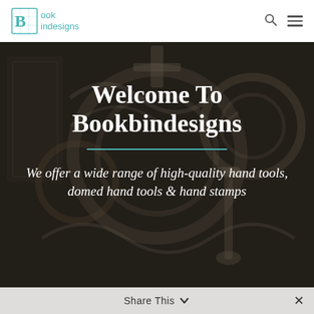Bookbindesigns
Welcome To Bookbindesigns
We offer a wide range of high-quality hand tools, domed hand tools & hand stamps
Share This